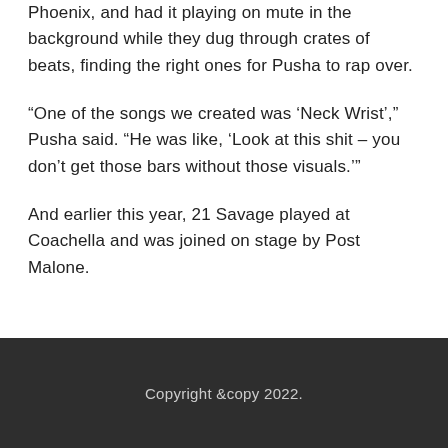Phoenix, and had it playing on mute in the background while they dug through crates of beats, finding the right ones for Pusha to rap over.
“One of the songs we created was ‘Neck Wrist’,” Pusha said. “He was like, ‘Look at this shit – you don’t get those bars without those visuals.’”
And earlier this year, 21 Savage played at Coachella and was joined on stage by Post Malone.
Copyright &copy 2022.